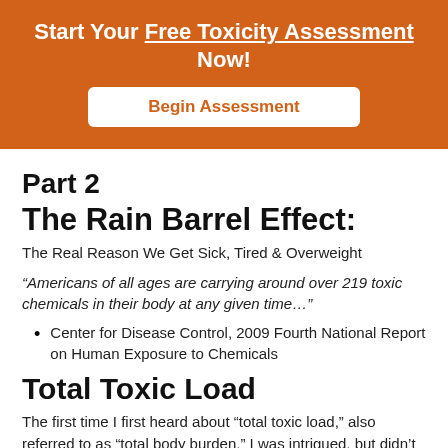Start Your Free Toxicity Assessment Now!
Begin Assessment
Part 2
The Rain Barrel Effect:
The Real Reason We Get Sick, Tired & Overweight
“Americans of all ages are carrying around over 219 toxic chemicals in their body at any given time…”
Center for Disease Control, 2009 Fourth National Report on Human Exposure to Chemicals
Total Toxic Load
The first time I first heard about “total toxic load,” also referred to as “total body burden,” I was intrigued, but didn’t